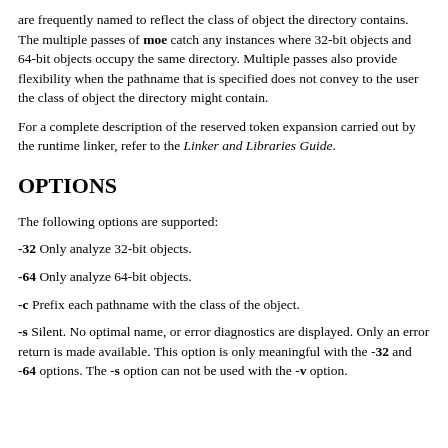are frequently named to reflect the class of object the directory contains. The multiple passes of moe catch any instances where 32-bit objects and 64-bit objects occupy the same directory. Multiple passes also provide flexibility when the pathname that is specified does not convey to the user the class of object the directory might contain.
For a complete description of the reserved token expansion carried out by the runtime linker, refer to the Linker and Libraries Guide.
OPTIONS
The following options are supported:
-32 Only analyze 32-bit objects.
-64 Only analyze 64-bit objects.
-c Prefix each pathname with the class of the object.
-s Silent. No optimal name, or error diagnostics are displayed. Only an error return is made available. This option is only meaningful with the -32 and -64 options. The -s option can not be used with the -v option.